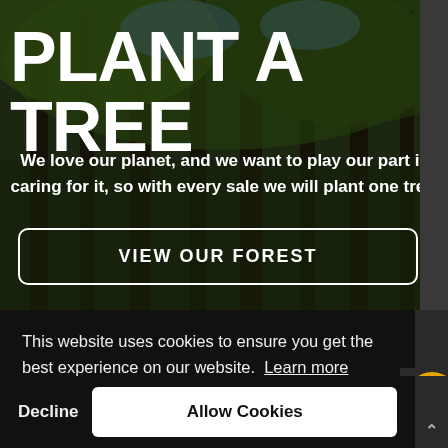[Figure (photo): Forest background with tall trees and green foliage, dark moody lighting]
PLANT A TREE
We love our planet, and we want to play our part in caring for it, so with every sale we will plant one tree.
VIEW OUR FOREST
This website uses cookies to ensure you get the best experience on our website. Learn more
Decline
Allow Cookies